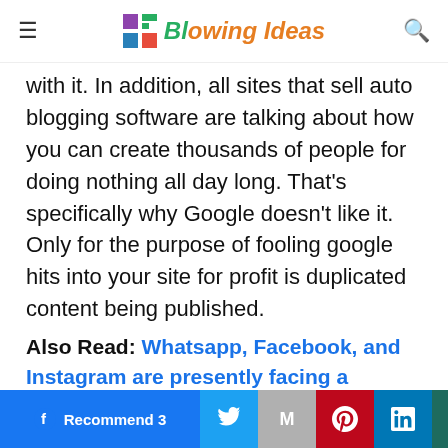Blowing Ideas
with it. In addition, all sites that sell auto blogging software are talking about how you can create thousands of people for doing nothing all day long. That’s specifically why Google doesn’t like it. Only for the purpose of fooling google hits into your site for profit is duplicated content being published.
Also Read: Whatsapp, Facebook, and Instagram are presently facing a breakdown
This website uses cookies. Accept